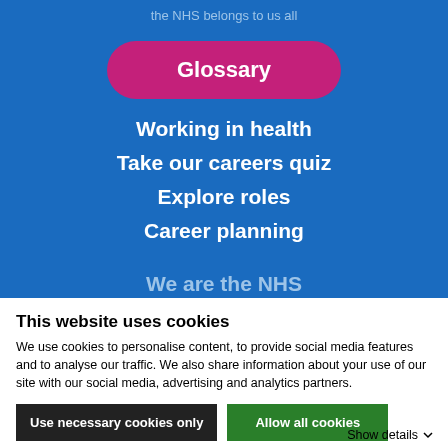the NHS belongs to us all
Glossary
Working in health
Take our careers quiz
Explore roles
Career planning
We are the NHS
This website uses cookies
We use cookies to personalise content, to provide social media features and to analyse our traffic. We also share information about your use of our site with our social media, advertising and analytics partners.
Use necessary cookies only
Allow all cookies
Show details